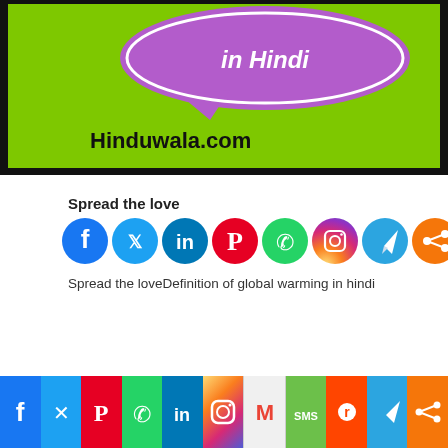[Figure (illustration): Green background image with a purple speech bubble containing text 'in Hindi' and 'Hinduwala.com' in black bold text, inside a black border frame.]
Spread the love
[Figure (infographic): Row of 8 social media icon circles: Facebook (blue), Twitter (light blue), LinkedIn (blue), Pinterest (red), WhatsApp (green), Instagram (gradient), Telegram (light blue), Share (orange)]
Spread the loveDefinition of global warming in hindi
[Figure (infographic): Bottom bar with 11 social media icons: Facebook, Twitter, Pinterest, WhatsApp, LinkedIn, Instagram, Gmail, SMS, Reddit, Telegram, Share]